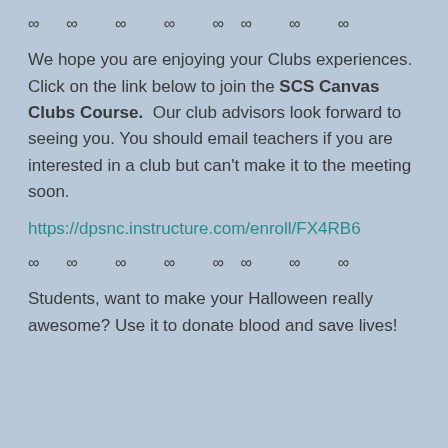∞ ∞ ∞ ∞ ∞ ∞ ∞ ∞
We hope you are enjoying your Clubs experiences. Click on the link below to join the SCS Canvas Clubs Course. Our club advisors look forward to seeing you. You should email teachers if you are interested in a club but can't make it to the meeting soon.
https://dpsnc.instructure.com/enroll/FX4RB6
∞ ∞ ∞ ∞ ∞ ∞ ∞ ∞
Students, want to make your Halloween really awesome? Use it to donate blood and save lives!